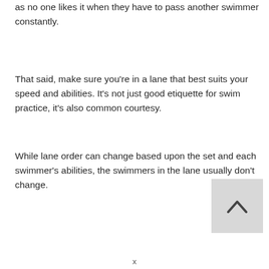as no one likes it when they have to pass another swimmer constantly.
That said, make sure you're in a lane that best suits your speed and abilities. It's not just good etiquette for swim practice, it's also common courtesy.
While lane order can change based upon the set and each swimmer's abilities, the swimmers in the lane usually don't change.
[Figure (other): Back to top button: a gray square button with an upward-pointing chevron/caret arrow icon.]
x